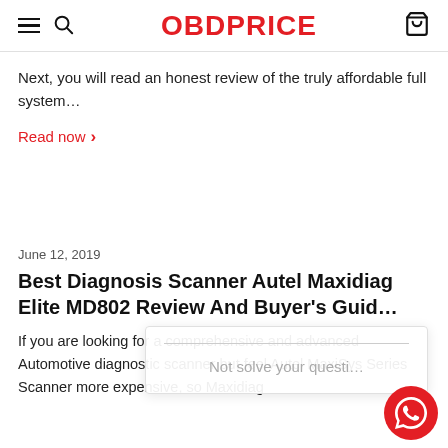OBDPRICE
Next, you will read an honest review of the truly affordable full system…
Read now >
June 12, 2019
Best Diagnosis Scanner Autel Maxidiag Elite MD802 Review And Buyer's Guid…
If you are looking for a comprehensive and advanced Automotive diagnostic scanner but feel Autel MaxiSys Series Scanner more expensive, so Maxidiag